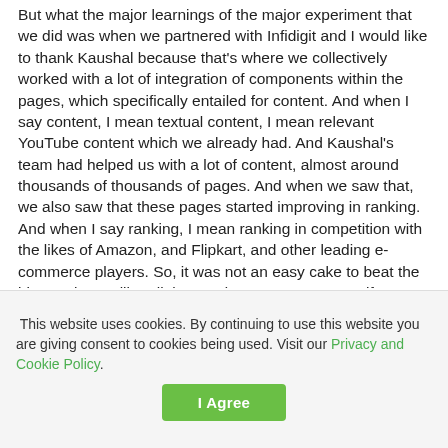But what the major learnings of the major experiment that we did was when we partnered with Infidigit and I would like to thank Kaushal because that's where we collectively worked with a lot of integration of components within the pages, which specifically entailed for content. And when I say content, I mean textual content, I mean relevant YouTube content which we already had. And Kaushal's team had helped us with a lot of content, almost around thousands of thousands of pages. And when we saw that, we also saw that these pages started improving in ranking. And when I say ranking, I mean ranking in competition with the likes of Amazon, and Flipkart, and other leading e-commerce players. So, it was not an easy cake to beat the bigger players like Flipkart and Amazon. However, if you
This website uses cookies. By continuing to use this website you are giving consent to cookies being used. Visit our Privacy and Cookie Policy.